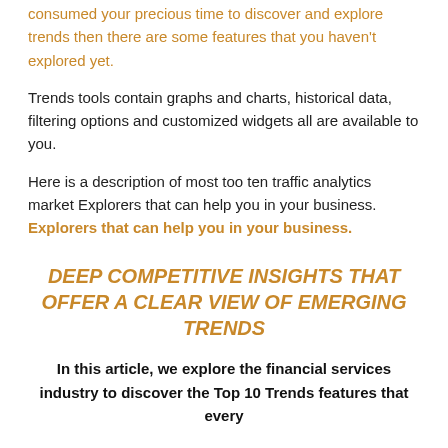consumed your precious time to discover and explore trends then there are some features that you haven't explored yet.
Trends tools contain graphs and charts, historical data, filtering options and customized widgets all are available to you.
Here is a description of most too ten traffic analytics market Explorers that can help you in your business. Explorers that can help you in your business.
DEEP COMPETITIVE INSIGHTS THAT OFFER A CLEAR VIEW OF EMERGING TRENDS
In this article, we explore the financial services industry to discover the Top 10 Trends features that every